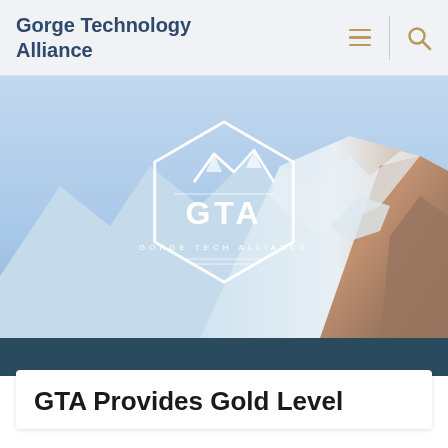Gorge Technology Alliance
[Figure (photo): Hero image showing a snow-capped mountain with warm sunlight on the right side and a light blue sky. Centered over the image is the GTA (Gorge Tech Alliance) white hexagonal logo with mountain peaks inside and the text 'GTA' and 'GORGE TECH ALLIANCE'.]
GTA Provides Gold Level